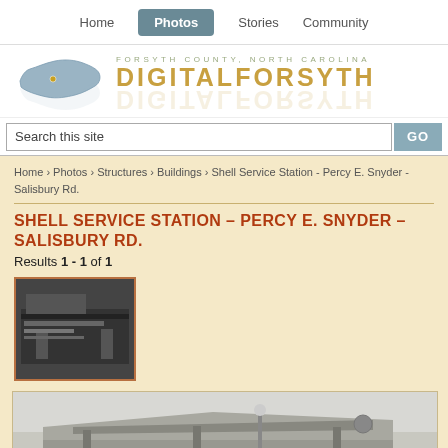Home | Photos | Stories | Community
[Figure (logo): DigitalForsyth logo with North Carolina state map silhouette, text 'FORSYTH COUNTY, NORTH CAROLINA' and 'DIGITALFORSYTH' in gold letters]
Search this site
Home › Photos › Structures › Buildings › Shell Service Station - Percy E. Snyder - Salisbury Rd.
SHELL SERVICE STATION – PERCY E. SNYDER – SALISBURY RD.
Results 1 - 1 of 1
[Figure (photo): Small thumbnail photo of Shell Service Station - Percy E. Snyder building, black and white historical photo]
[Figure (photo): Large black and white historical photograph of Shell Service Station, showing building exterior with canopy and gas pumps on Salisbury Road]